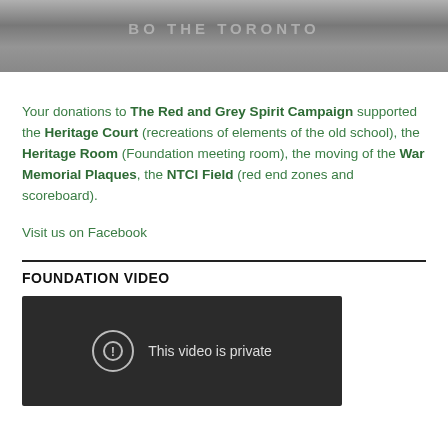[Figure (photo): Grayscale photo strip showing engraved or carved text, partially visible]
Your donations to The Red and Grey Spirit Campaign supported the Heritage Court (recreations of elements of the old school), the Heritage Room (Foundation meeting room), the moving of the War Memorial Plaques, the NTCI Field (red end zones and scoreboard).
Visit us on Facebook
FOUNDATION VIDEO
[Figure (screenshot): Dark video player showing 'This video is private' message with an exclamation icon]